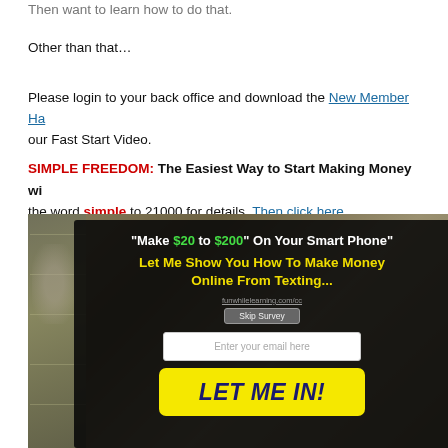Then want to learn how to do that.
Other than that…
Please login to your back office and download the New Member Ha… our Fast Start Video.
SIMPLE FREEDOM: The Easiest Way to Start Making Money wi… the word simple to 21000 for details. Then click here.
[Figure (infographic): Promotional banner over US dollar bills background. Dark overlay with white and yellow text: 'Make $20 to $200 On Your Smart Phone' / 'Let Me Show You How To Make Money Online From Texting...' with email opt-in form and yellow LET ME IN! button.]